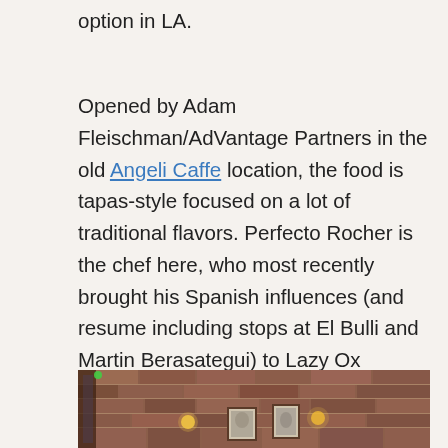option in LA.
Opened by Adam Fleischman/AdVantage Partners in the old Angeli Caffe location, the food is tapas-style focused on a lot of traditional flavors. Perfecto Rocher is the chef here, who most recently brought his Spanish influences (and resume including stops at El Bulli and Martin Berasategui) to Lazy Ox Canteen. I visited Lazy Ox a couple of years ago when Rocher was cooking and enjoyed it, so was excited to check out his next stop.
[Figure (photo): Interior of a restaurant showing a brick wall with framed artwork and wall sconces providing warm lighting]